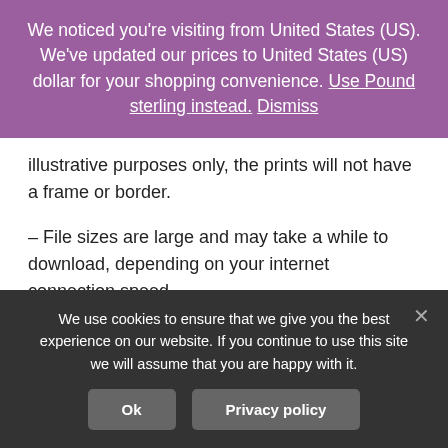We noticed you're visiting from United States (US). We've updated our prices to United States (US) dollar for your shopping convenience. Use Pound sterling instead. Dismiss
illustrative purposes only, the prints will not have a frame or border.
– File sizes are large and may take a while to download, depending on your internet connection speed.
© Images remain copyright Enchanted Wishes, and are
We use cookies to ensure that we give you the best experience on our website. If you continue to use this site we will assume that you are happy with it.